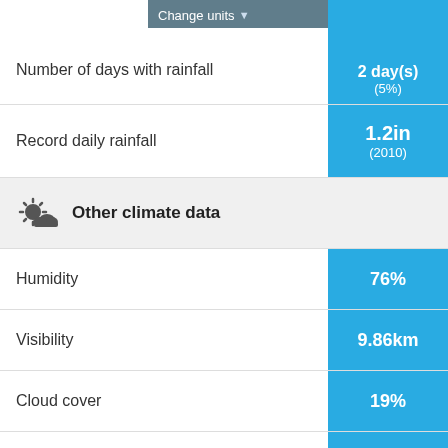Number of days with rainfall
2 day(s) (5%)
Record daily rainfall
1.2in (2010)
Other climate data
Humidity
76%
Visibility
9.86km
Cloud cover
19%
UV index
6
Daily sunshine hours
14
Sunrise and sunset
Time of sunrise
05:33